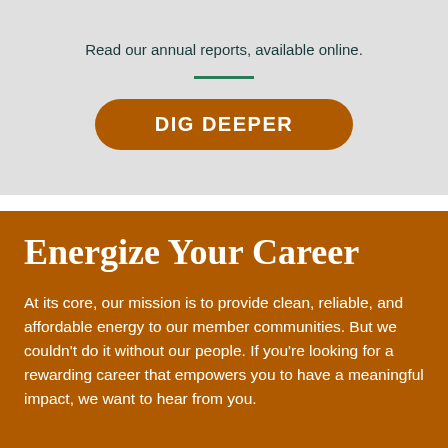Read our annual reports, available online.
DIG DEEPER
Energize Your Career
At its core, our mission is to provide clean, reliable, and affordable energy to our member communities. But we couldn't do it without our people. If you're looking for a rewarding career that empowers you to have a meaningful impact, we want to hear from you.